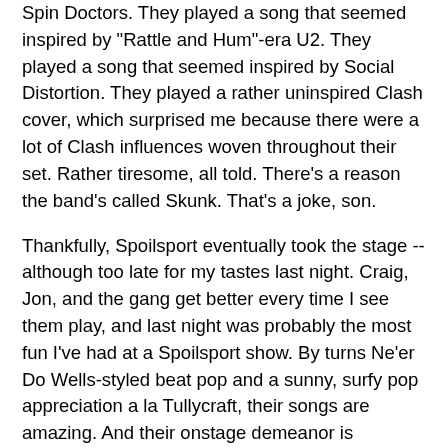Spin Doctors. They played a song that seemed inspired by "Rattle and Hum"-era U2. They played a song that seemed inspired by Social Distortion. They played a rather uninspired Clash cover, which surprised me because there were a lot of Clash influences woven throughout their set. Rather tiresome, all told. There's a reason the band's called Skunk. That's a joke, son.
Thankfully, Spoilsport eventually took the stage -- although too late for my tastes last night. Craig, Jon, and the gang get better every time I see them play, and last night was probably the most fun I've had at a Spoilsport show. By turns Ne'er Do Wells-styled beat pop and a sunny, surfy pop appreciation a la Tullycraft, their songs are amazing. And their onstage demeanor is excessively fun and friendly. They seem to have a lot of fun being on stage together, and they seem to have as much fun watching the people in the crowd as they do playing live. Charming, disarming. Very, very nice. Even if "Bootz" did throw her cap gun at me. The gall.
So. A show of mixed feelings. Frustrated I didn't get home as early as I'd planned. And frustrated by Skunk. But quite